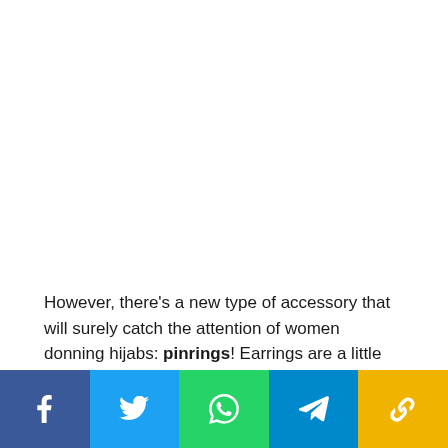However, there's a new type of accessory that will surely catch the attention of women donning hijabs: pinrings! Earrings are a little difficult to wear for hijabi women, so Malaysian student, Fatini came up with a brilliant idea to transform earrings into pins.
[Figure (other): Social media share bar with five buttons: Facebook (blue), Twitter (light blue), WhatsApp (green), Telegram (blue), and a chain-link/share icon (yellow/gold)]